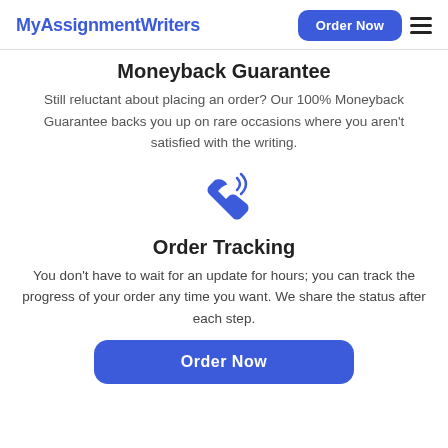MyAssignmentWriters | Order Now
Moneyback Guarantee
Still reluctant about placing an order? Our 100% Moneyback Guarantee backs you up on rare occasions where you aren't satisfied with the writing.
[Figure (illustration): Blue telephone/phone icon with signal waves indicating call tracking]
Order Tracking
You don't have to wait for an update for hours; you can track the progress of your order any time you want. We share the status after each step.
Order Now